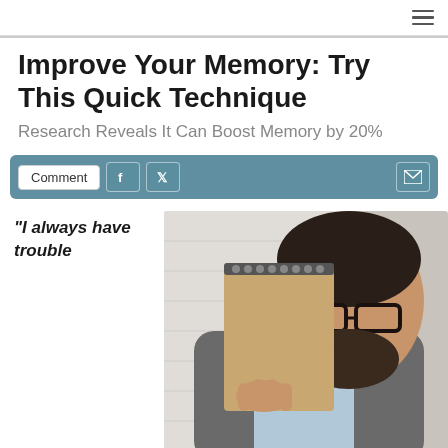☰
Improve Your Memory: Try This Quick Technique
Research Reveals It Can Boost Memory by 20%
Comment  [Facebook icon]  [Twitter icon]  [Email icon]
“I always have trouble
[Figure (photo): A bearded man wearing glasses and a grey blazer over a light blue shirt, holding a spiral-bound notebook up to his face and looking down at it thoughtfully, against a white brick wall background.]